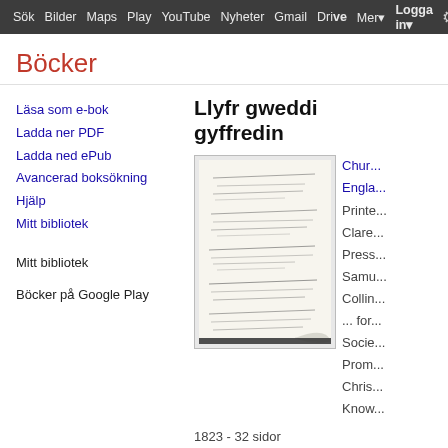Sök  Bilder  Maps  Play  YouTube  Nyheter  Gmail  Drive  Mer▾  Logga in▾  ⚙
Böcker
Läsa som e-bok
Ladda ner PDF
Ladda ned ePub
Avancerad boksökning
Hjälp
Mitt bibliotek
Mitt bibliotek
Böcker på Google Play
Llyfr gweddi gyffredin
[Figure (photo): Scanned manuscript page with handwritten Welsh text, page curl at bottom right]
Chur... Engla... Printe... Clare... Press... Samu... Collin... ... for... Socie... Prom... Chris... Know...
1823 - 32 sidor